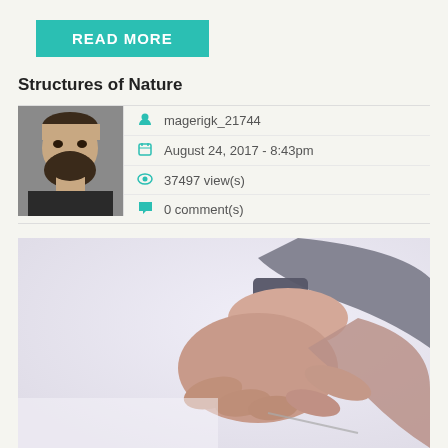READ MORE
Structures of Nature
[Figure (photo): Author avatar photo showing a bearded man]
magerigk_21744
August 24, 2017 - 8:43pm
37497 view(s)
0 comment(s)
[Figure (photo): Close-up photo of hands, possibly holding a thin object, with a bracelet visible on wrist, light background]